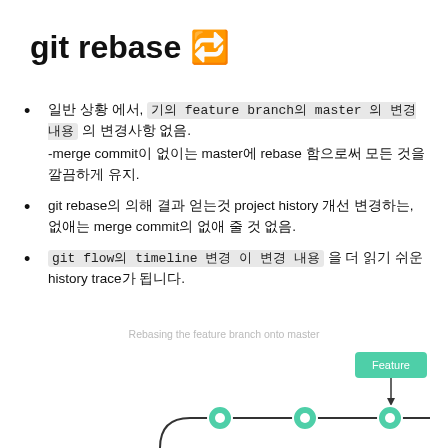git rebase 🔁
일반 상황 에서, 기의 feature branch의 master 로 변경 내용 의 변경사항 없음.
-merge commit이 없이는 master에 rebase 함으로써 모든 것을 깔끔하게 유지.
git rebase의 의해 결과 얻는것 project history 개선 변경하는, 없애는 merge commit의 없애 줄 것 없음.
git flow의 timeline 변경 이 변경 내용 을 더 읽기 쉬운 history trace가 됩니다.
Rebasing the feature branch onto master
[Figure (flowchart): Diagram showing a feature branch box labeled 'Feature' with an arrow pointing down to a horizontal line of three commit nodes connected by lines, representing rebasing the feature branch onto master.]